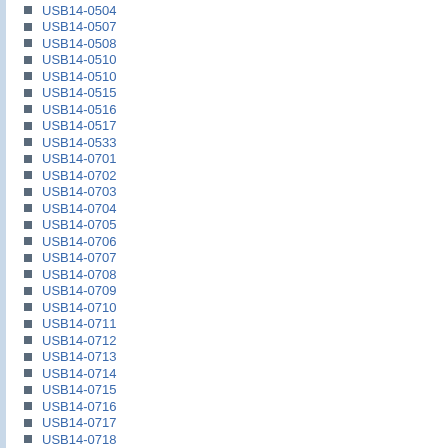USB14-0504
USB14-0507
USB14-0508
USB14-0510
USB14-0510
USB14-0515
USB14-0516
USB14-0517
USB14-0533
USB14-0701
USB14-0702
USB14-0703
USB14-0704
USB14-0705
USB14-0706
USB14-0707
USB14-0708
USB14-0709
USB14-0710
USB14-0711
USB14-0712
USB14-0713
USB14-0714
USB14-0715
USB14-0716
USB14-0717
USB14-0718